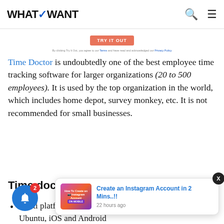WHATVWANT
[Figure (other): TRY IT OUT button (coral/salmon colored) with footnote text about Terms and Privacy Policy]
Time Doctor is undoubtedly one of the best employee time tracking software for larger organizations (20 to 500 employees). It is used by the top organization in the world, which includes home depot, survey monkey, etc. It is not recommended for small businesses.
Time doctor features
Multi platform supported including Windows, Mac, Ubuntu, iOS and Android...
[Figure (other): Toast notification popup: thumbnail image for 'How To Create an Instagram Account ON MOBILE', with title 'Create an Instagram Account in 2 Mins..!!' and time '22 hours ago']